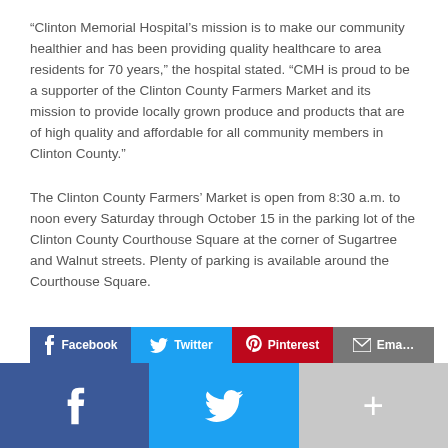“Clinton Memorial Hospital’s mission is to make our community healthier and has been providing quality healthcare to area residents for 70 years,” the hospital stated. “CMH is proud to be a supporter of the Clinton County Farmers Market and its mission to provide locally grown produce and products that are of high quality and affordable for all community members in Clinton County.”
The Clinton County Farmers’ Market is open from 8:30 a.m. to noon every Saturday through October 15 in the parking lot of the Clinton County Courthouse Square at the corner of Sugartree and Walnut streets. Plenty of parking is available around the Courthouse Square.
For more information, please contact the market manager at sally@clintoncountyfarmersmarket.com.
[Figure (infographic): Social share buttons row: Facebook (blue), Twitter (light blue), Pinterest (red), Email (gray), each with icon and label. Below: larger share bar with Facebook (blue), Twitter (light blue), and a gray plus button.]